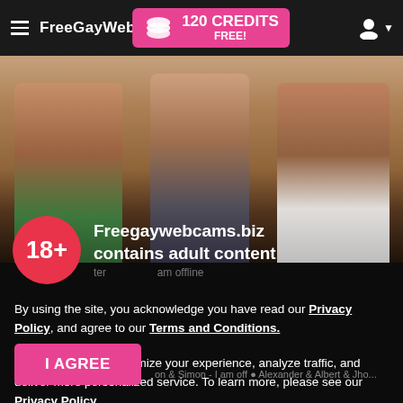FreeGayWebcams — 120 CREDITS FREE!
[Figure (photo): Three shirtless tattooed men standing together, background showing a room setting]
Freegaywebcams.biz contains adult content
By using the site, you acknowledge you have read our Privacy Policy, and agree to our Terms and Conditions.
We use cookies to optimize your experience, analyze traffic, and deliver more personalized service. To learn more, please see our Privacy Policy.
I AGREE
on & Simon - I am off • Alexander & Albert & Jho...